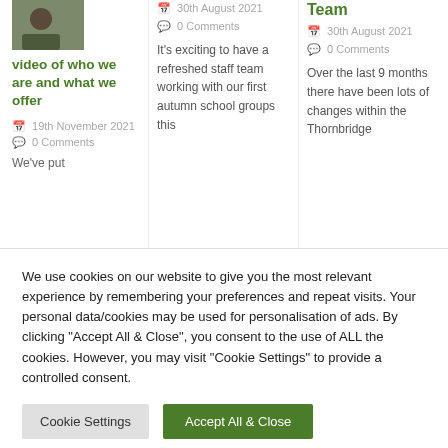[Figure (photo): Small thumbnail photo of a person outdoors]
video of who we are and what we offer
19th November 2021
0 Comments
We've put
30th August 2021
0 Comments
It's exciting to have a refreshed staff team working with our first autumn school groups this
Team
30th August 2021
0 Comments
Over the last 9 months there have been lots of changes within the Thornbridge
We use cookies on our website to give you the most relevant experience by remembering your preferences and repeat visits. Your personal data/cookies may be used for personalisation of ads. By clicking "Accept All & Close", you consent to the use of ALL the cookies. However, you may visit "Cookie Settings" to provide a controlled consent.